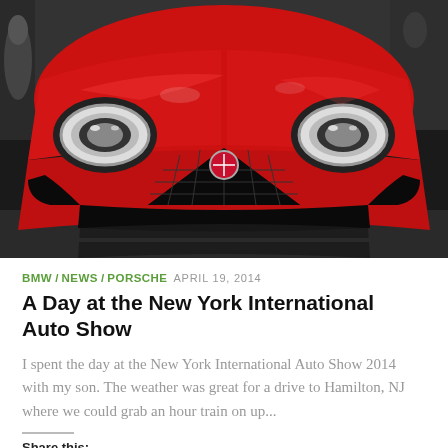[Figure (photo): Front view of a red Alfa Romeo 4C sports car displayed at the New York International Auto Show, photographed straight-on showing the distinctive triangular grille with the Alfa Romeo badge, dual headlights, and aggressive front fascia against a dark background.]
BMW / NEWS / PORSCHE  APRIL 19, 2014
A Day at the New York International Auto Show
I spent the day at the New York International Auto Show 2014 with my son. The weather was great for a drive to Hamilton, NJ where we could grab an hour train on up...
Share this: